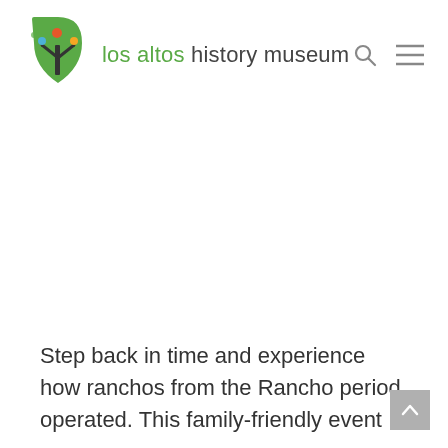[Figure (logo): Los Altos History Museum logo: green stylized tree with colorful leaf dots on the left, text 'los altos history museum' in grey and green on the right]
Step back in time and experience how ranchos from the Rancho period operated. This family-friendly event